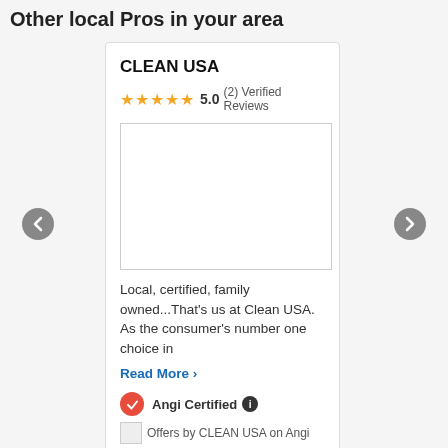Other local Pros in your area
CLEAN USA
★★★★★ 5.0 (2) Verified Reviews
[Figure (photo): Blank image placeholder for CLEAN USA listing photo]
Local, certified, family owned...That's us at Clean USA. As the consumer's number one choice in
Read More ›
✓ Angi Certified ℹ
Offers by CLEAN USA on Angi